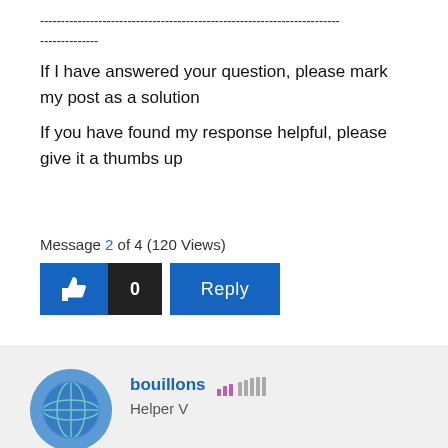------------------------------------------------------------------------
--------------
If I have answered your question, please mark my post as a solution
If you have found my response helpful, please give it a thumbs up
Message 2 of 4 (120 Views)
[Figure (infographic): Thumbs up button with count 0 and Reply button]
[Figure (photo): User avatar for bouillons]
bouillons
Helper V